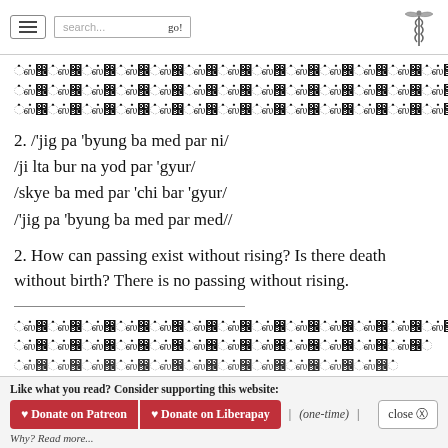[Navigation bar with hamburger menu, search box, go! button, and caduceus logo]
[Tibetan script text - three lines]
2. /'jig pa 'byung ba med par ni/
/ji lta bur na yod par 'gyur/
/skye ba med par 'chi bar 'gyur/
/'jig pa 'byung ba med par med//
2. How can passing exist without rising? Is there death without birth? There is no passing without rising.
[Tibetan script text - three lines]
Like what you read? Consider supporting this website:
♥ Donate on Patreon  ♥ Donate on Liberapay  |  (one-time)  |  close ⊗
Why? Read more...